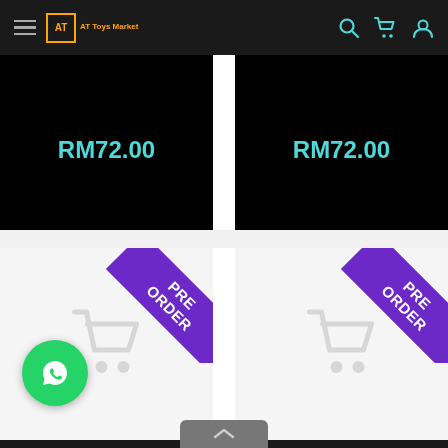AT Toys Market navigation bar with hamburger menu, logo, search, cart, and profile icons
RM72.00
RM72.00
[Figure (screenshot): Product listing card with PRE ORDER ribbon badge, light grey background, and faint shopping cart icon]
[Figure (screenshot): Product listing card with PRE ORDER ribbon badge, light grey background, and faint shopping cart icon]
[Figure (screenshot): Bottom row product card with dark background]
[Figure (screenshot): Bottom row product card with dark background]